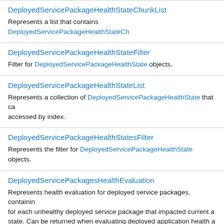DeployedServicePackageHealthStateChunkList
Represents a list that contains DeployedServicePackageHealthStateCh...
DeployedServicePackageHealthStateFilter
Filter for DeployedServicePackageHealthState objects.
DeployedServicePackageHealthStateList
Represents a collection of DeployedServicePackageHealthState that can be accessed by index.
DeployedServicePackageHealthStatesFilter
Represents the filter for DeployedServicePackageHealthState objects.
DeployedServicePackagesHealthEvaluation
Represents health evaluation for deployed service packages, containing health evaluations for each unhealthy deployed service package that impacted current aggregated health state. Can be returned when evaluating deployed application health and the aggregated health state is either Error or Warning.
EntityHealth